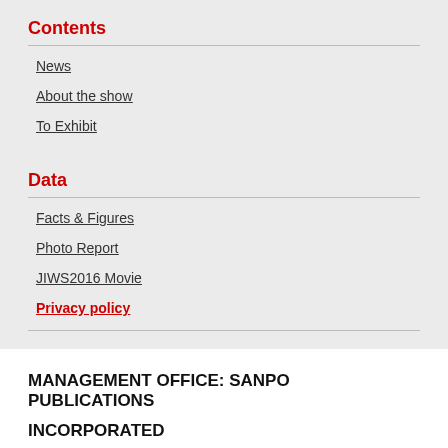Contents
News
About the show
To Exhibit
Data
Facts & Figures
Photo Report
JIWS2016 Movie
Privacy policy
MANAGEMENT OFFICE: SANPO PUBLICATIONS INCORPORATED